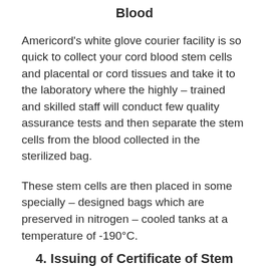Blood
Americord's white glove courier facility is so quick to collect your cord blood stem cells and placental or cord tissues and take it to the laboratory where the highly – trained and skilled staff will conduct few quality assurance tests and then separate the stem cells from the blood collected in the sterilized bag.
These stem cells are then placed in some specially – designed bags which are preserved in nitrogen – cooled tanks at a temperature of -190°C.
4. Issuing of Certificate of Stem